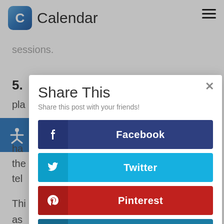Calendar
sessions.
5.
pla
ha
the
tel
Thi e'll as h.
[Figure (screenshot): Share This modal dialog with social sharing buttons for Facebook, Twitter, Pinterest, and LinkedIn over a blurred webpage background]